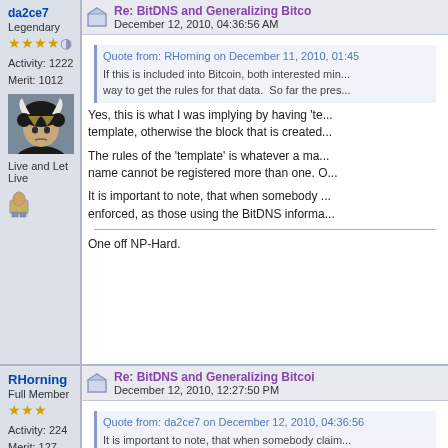da2ce7
Legendary
Activity: 1222
Merit: 1012
[Figure (photo): Avatar photo of a person wearing a black cow-horn headpiece]
Live and Let Live
Re: BitDNS and Generalizing Bitcoin
December 12, 2010, 04:36:56 AM
Quote from: RHorning on December 11, 2010, 01:45
If this is included into Bitcoin, both interested miners... way to get the rules for that data.  So far the pres...
Yes, this is what I was implying by having 'te... template, otherwise the block that is created...
The rules of the 'template' is whatever a ma... name cannot be registered more than one. O...
It is important to note, that when somebody ... enforced, as those using the BitDNS informa...
One off NP-Hard.
RHorning
Full Member
Activity: 224
Merit: 127
Re: BitDNS and Generalizing Bitcoin
December 12, 2010, 12:27:50 PM
Quote from: da2ce7 on December 12, 2010, 04:36:56
It is important to note, that when somebody claim... using the BitDNS information will just ignore the li...
This in turn leads to multiple assumptions a... (going back to the Thaumas/Nanotube are...